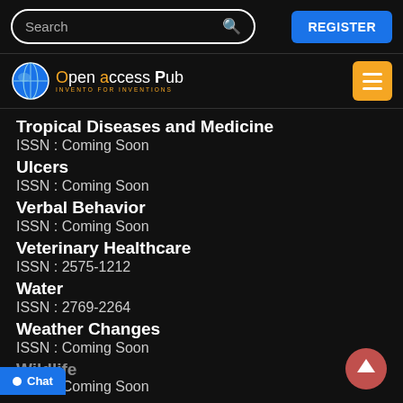Search | REGISTER
[Figure (logo): Open Access Pub logo with globe icon and tagline INVENTO FOR INVENTIONS]
Tropical Diseases and Medicine
ISSN : Coming Soon
Ulcers
ISSN : Coming Soon
Verbal Behavior
ISSN : Coming Soon
Veterinary Healthcare
ISSN : 2575-1212
Water
ISSN : 2769-2264
Weather Changes
ISSN : Coming Soon
Wildlife (partial)
ISSN : Coming Soon